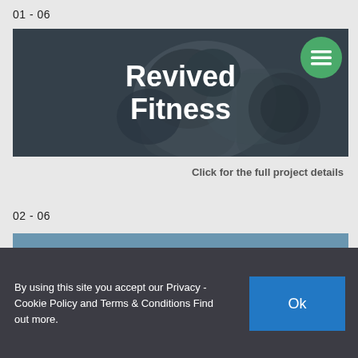01 - 06
[Figure (photo): Black and white photo of a muscular person lifting weights, with bold white text 'Revived Fitness' overlaid, and a green circular hamburger menu icon in the top right corner.]
Click for the full project details
02 - 06
[Figure (photo): Outdoor photo showing a person running or exercising, partially visible.]
By using this site you accept our Privacy - Cookie Policy and Terms & Conditions Find out more.